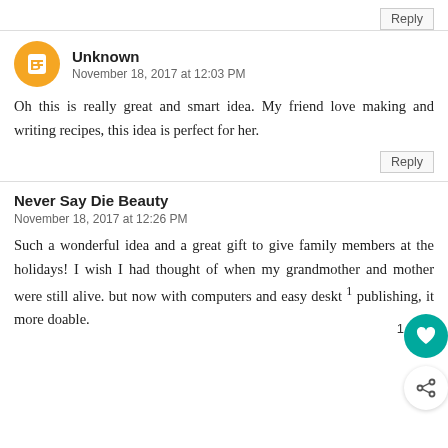Reply
Unknown
November 18, 2017 at 12:03 PM
Oh this is really great and smart idea. My friend love making and writing recipes, this idea is perfect for her.
Reply
Never Say Die Beauty
November 18, 2017 at 12:26 PM
Such a wonderful idea and a great gift to give family members at the holidays! I wish I had thought of when my grandmother and mother were still alive. but now with computers and easy deskt 1 publishing, it more doable.